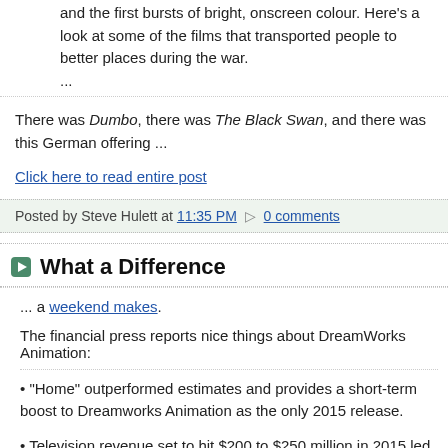and the first bursts of bright, onscreen colour. Here's a look at some of the films that transported people to better places during the war. ...
There was Dumbo, there was The Black Swan, and there was this German offering ...
Click here to read entire post
Posted by Steve Hulett at 11:35 PM  0 comments
What a Difference
... a weekend makes.
The financial press reports nice things about DreamWorks Animation:
"Home" outperformed estimates and provides a short-term boost to Dreamworks Animation as the only 2015 release.
Television revenue set to hit $200 to $250 million in 2015 led by new shows on Netflix.
Dreamworks Animation signs new deal with Verizon for 200 hours